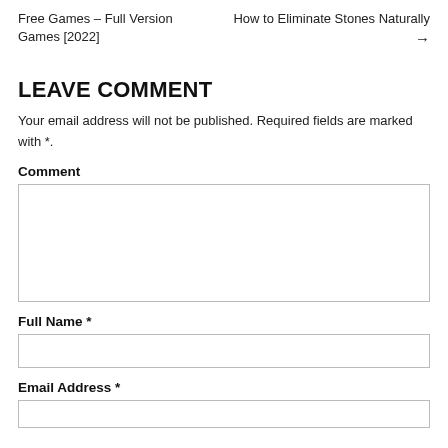Free Games – Full Version Games [2022]
How to Eliminate Stones Naturally →
LEAVE COMMENT
Your email address will not be published. Required fields are marked with *.
Comment
Full Name *
Email Address *